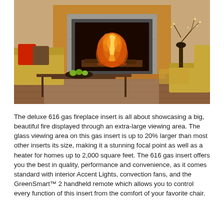[Figure (photo): A cozy living room scene featuring a gas fireplace insert with a wooden mantel, glowing fire visible through a large glass viewing area. A yellow sofa with red and brown decorative pillows is on the left, a low wooden coffee table with a bowl of green apples in the foreground, and a beige ottoman on the right. A vase with bare branches and decorative lights sits to the right of the fireplace.]
The deluxe 616 gas fireplace insert is all about showcasing a big, beautiful fire displayed through an extra-large viewing area. The glass viewing area on this gas insert is up to 20% larger than most other inserts its size, making it a stunning focal point as well as a heater for homes up to 2,000 square feet. The 616 gas insert offers you the best in quality, performance and convenience, as it comes standard with interior Accent Lights, convection fans, and the GreenSmart™ 2 handheld remote which allows you to control every function of this insert from the comfort of your favorite chair.